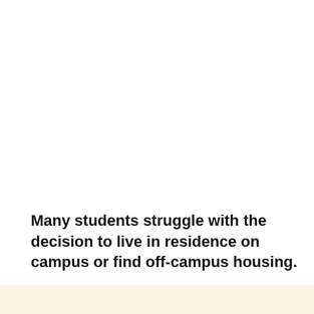Many students struggle with the decision to live in residence on campus or find off-campus housing.